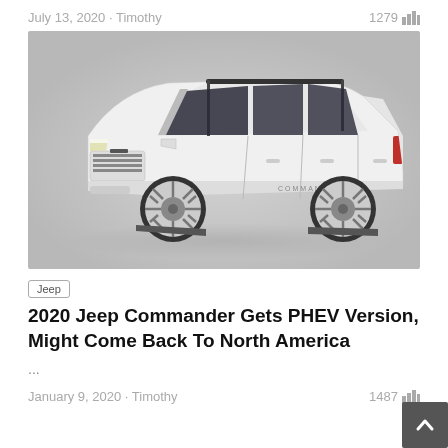July 13, 2020 · Timothy    1279
[Figure (photo): White 2020 Jeep Commander SUV, side 3/4 front view on grey background]
Jeep
2020 Jeep Commander Gets PHEV Version, Might Come Back To North America
...
January 9, 2020 · Timothy    1487